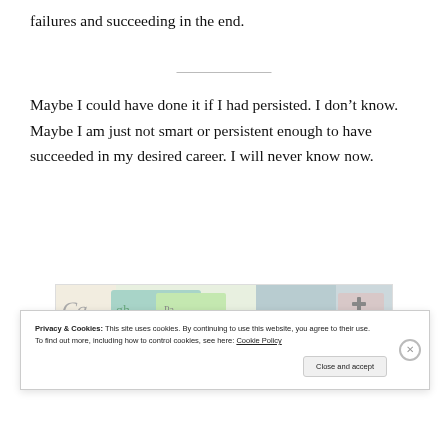failures and succeeding in the end.
Maybe I could have done it if I had persisted. I don’t know. Maybe I am just not smart or persistent enough to have succeeded in my desired career. I will never know now.
[Figure (photo): Advertisement banner showing colorful paper currency/money imagery]
Privacy & Cookies: This site uses cookies. By continuing to use this website, you agree to their use. To find out more, including how to control cookies, see here: Cookie Policy
Close and accept